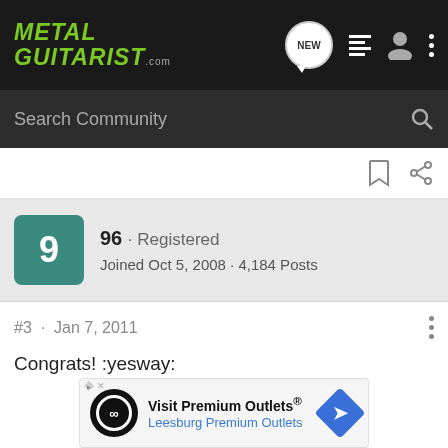METAL GUITARIST.com
Search Community
96 · Registered
Joined Oct 5, 2008 · 4,184 Posts
#3 · Jan 7, 2011
Congrats! :yesway:
[Figure (infographic): Advertisement banner for Visit Premium Outlets® – Leesburg Premium Outlets, with infinity logo and blue arrow icon]
Visit Premium Outlets®
Leesburg Premium Outlets